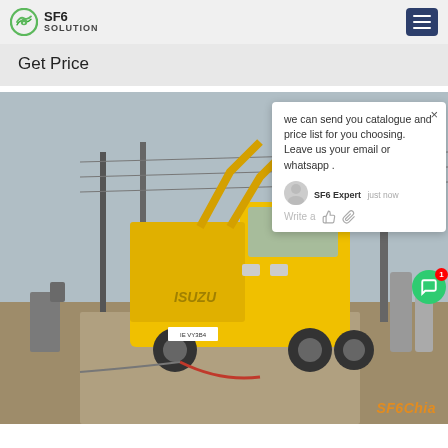SF6 SOLUTION
Get Price
[Figure (photo): Yellow Isuzu truck at an electrical substation with high-voltage equipment, power lines, and industrial infrastructure in background. Chat popup overlay showing message from SF6 Expert.]
we can send you catalogue and price list for you choosing. Leave us your email or whatsapp .
SF6 Expert   just now
Write a